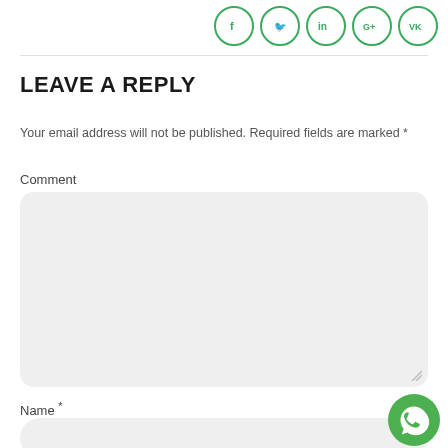[Figure (illustration): Social media share icons: Facebook (f), Twitter (bird), LinkedIn (in), Google+ (G+), VK (VK) — circular green-outlined icons in top right]
LEAVE A REPLY
Your email address will not be published. Required fields are marked *
Comment
[Figure (screenshot): Empty comment textarea with light grey background and rounded corners, with resize handle at bottom right]
Name *
[Figure (screenshot): Empty name input field with light grey background and fully rounded corners]
[Figure (logo): WhatsApp floating button (green circle with white phone handset icon) at bottom right]